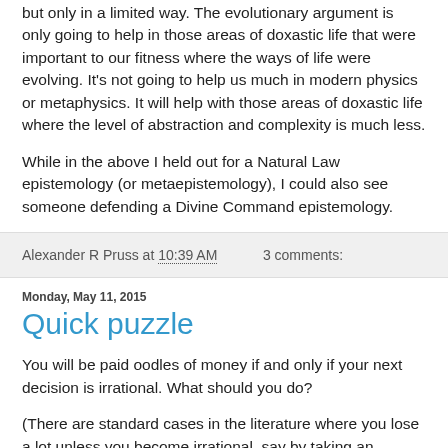but only in a limited way. The evolutionary argument is only going to help in those areas of doxastic life that were important to our fitness where the ways of life were evolving. It's not going to help us much in modern physics or metaphysics. It will help with those areas of doxastic life where the level of abstraction and complexity is much less.
While in the above I held out for a Natural Law epistemology (or metaepistemology), I could also see someone defending a Divine Command epistemology.
Alexander R Pruss at 10:39 AM    3 comments:
Monday, May 11, 2015
Quick puzzle
You will be paid oodles of money if and only if your next decision is irrational. What should you do?
(There are standard cases in the literature where you lose a lot unless you become irrational, say by taking an irrationality